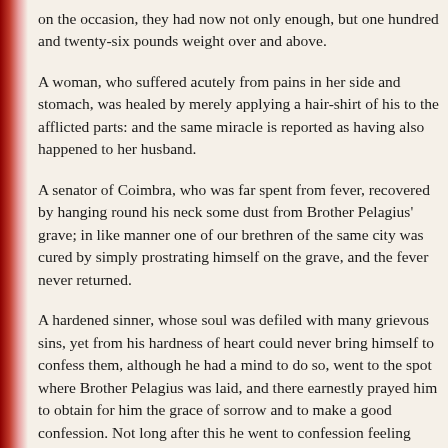on the occasion, they had now not only enough, but one hundred and twenty-six pounds weight over and above.
A woman, who suffered acutely from pains in her side and stomach, was healed by merely applying a hair-shirt of his to the afflicted parts: and the same miracle is reported as having also happened to her husband.
A senator of Coimbra, who was far spent from fever, recovered by hanging round his neck some dust from Brother Pelagius' grave; in like manner one of our brethren of the same city was cured by simply prostrating himself on the grave, and the fever never returned.
A hardened sinner, whose soul was defiled with many grievous sins, yet from his hardness of heart could never bring himself to confess them, although he had a mind to do so, went to the spot where Brother Pelagius was laid, and there earnestly prayed him to obtain for him the grace of sorrow and to make a good confession. Not long after this he went to confession feeling deeply contrite, so much so that his confessor says he could hardly tell his sins, his speech being